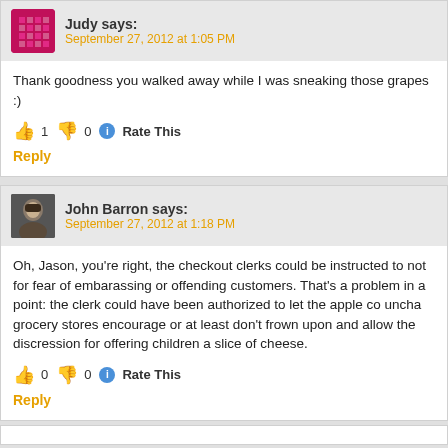Judy says: September 27, 2012 at 1:05 PM
Thank goodness you walked away while I was sneaking those grapes :)
👍 1 👎 0 ℹ Rate This Reply
John Barron says: September 27, 2012 at 1:18 PM
Oh, Jason, you're right, the checkout clerks could be instructed to not for fear of embarassing or offending customers. That's a problem in point: the clerk could have been authorized to let the apple co uncha grocery stores encourage or at least don't frown upon and allow the discression for offering children a slice of cheese.
👍 0 👎 0 ℹ Rate This Reply